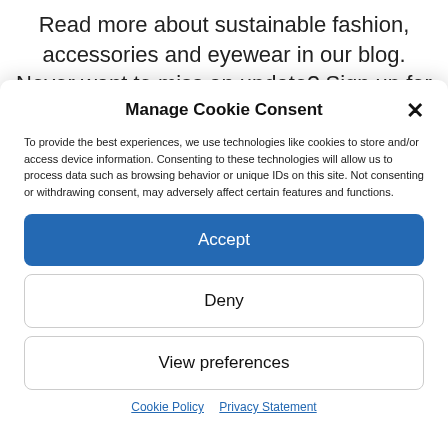Read more about sustainable fashion, accessories and eyewear in our blog. Never want to miss an update? Sign up for free ad receive regular
Manage Cookie Consent
To provide the best experiences, we use technologies like cookies to store and/or access device information. Consenting to these technologies will allow us to process data such as browsing behavior or unique IDs on this site. Not consenting or withdrawing consent, may adversely affect certain features and functions.
Accept
Deny
View preferences
Cookie Policy  Privacy Statement